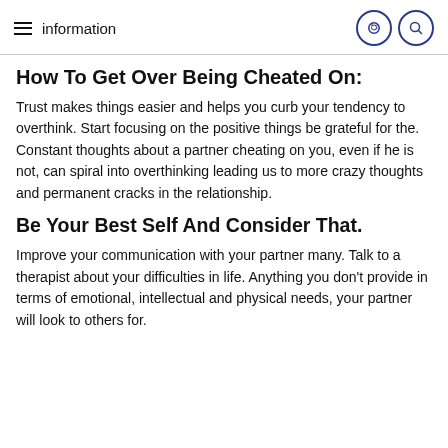information
How To Get Over Being Cheated On:
Trust makes things easier and helps you curb your tendency to overthink. Start focusing on the positive things be grateful for the. Constant thoughts about a partner cheating on you, even if he is not, can spiral into overthinking leading us to more crazy thoughts and permanent cracks in the relationship.
Be Your Best Self And Consider That.
Improve your communication with your partner many. Talk to a therapist about your difficulties in life. Anything you don't provide in terms of emotional, intellectual and physical needs, your partner will look to others for.